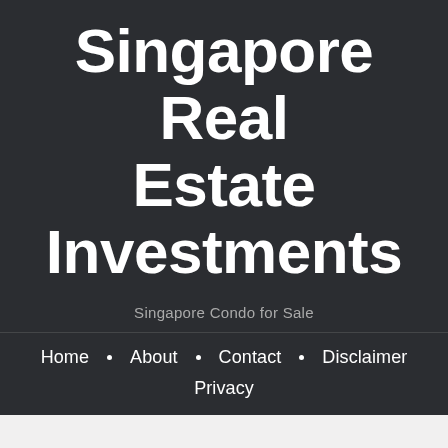Singapore Real Estate Investments
Singapore Condo for Sale
Home · About · Contact · Disclaimer · Privacy
Variety of Delicious Bakery Products